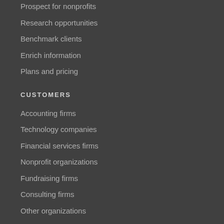Prospect for nonprofits
Research opportunities
Benchmark clients
Enrich information
Plans and pricing
CUSTOMERS
Accounting firms
Technology companies
Financial services firms
Nonprofit organizations
Fundraising firms
Consulting firms
Other organizations
ABOUT
Insights
Better data